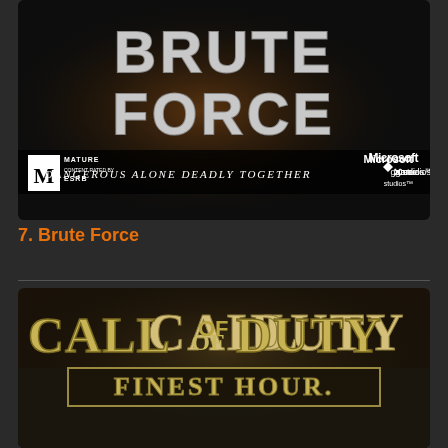[Figure (photo): Brute Force Xbox game cover art. Shows the game title 'BRUTE FORCE' in large metallic 3D letters. Tagline reads 'DANGEROUS ALONE DEADLY TOGETHER'. ESRB Mature rating box bottom left. Microsoft Game Studios logo bottom right. Dark moody background.]
7. Brute Force
[Figure (photo): Call of Duty: Finest Hour game cover art. Shows large stylized text 'CALL OF DUTY' with 'FINEST HOUR.' banner below. Winter wartime scene with soldier and tank in background.]